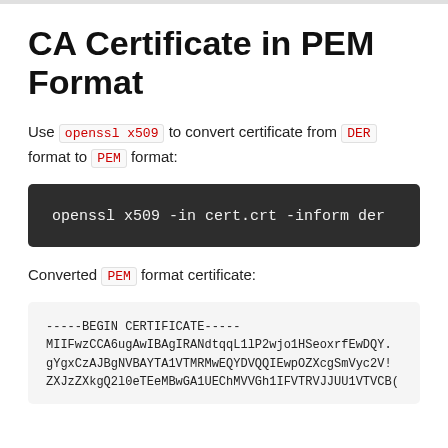CA Certificate in PEM Format
Use openssl x509 to convert certificate from DER format to PEM format:
[Figure (screenshot): Dark code block showing: openssl x509 -in cert.crt -inform der]
Converted PEM format certificate:
[Figure (screenshot): Light grey code block showing PEM certificate content: -----BEGIN CERTIFICATE----- MIIFwzCCA6ugAwIBAgIRANdtqqL1lP2wjo1HSeoxrfEwDQY. gYgxCzAJBgNVBAYTA1VTMRMwEQYDVQQIEwpOZXcgSmVyc2V! ZXJzZXkgQ2l0eTEeMBwGA1UEChMVVGh1IFVTRVJJUU1VTVCB(]